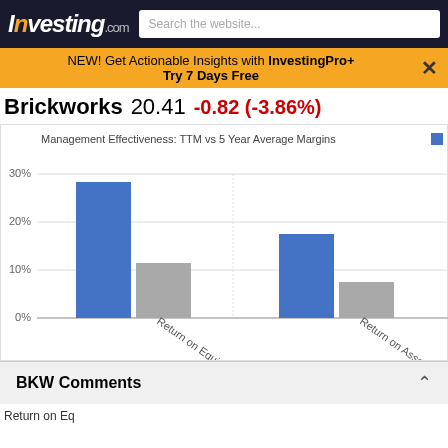Investing.com  Search the website...
NEW! Get Actionable Insights with InvestingPro+
Try 7 Days Free
Brickworks  20.41  -0.82 (-3.86%)
[Figure (grouped-bar-chart): Management Effectiveness: TTM vs 5 Year Average Margins]
BKW Comments
Return on Eq